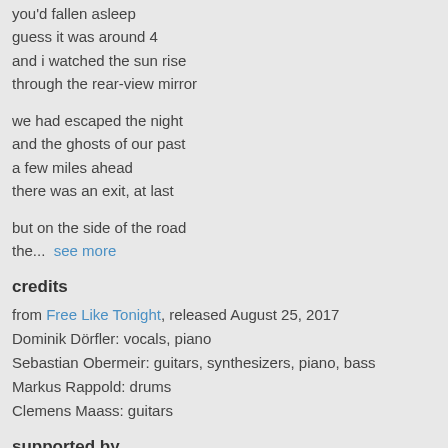you'd fallen asleep
guess it was around 4
and i watched the sun rise
through the rear-view mirror
we had escaped the night
and the ghosts of our past
a few miles ahead
there was an exit, at last
but on the side of the road
the...  see more
credits
from Free Like Tonight, released August 25, 2017
Dominik Dörfler: vocals, piano
Sebastian Obermeir: guitars, synthesizers, piano, bass
Markus Rappold: drums
Clemens Maass: guitars
supported by
[Figure (photo): Two small album artwork thumbnails stacked vertically]